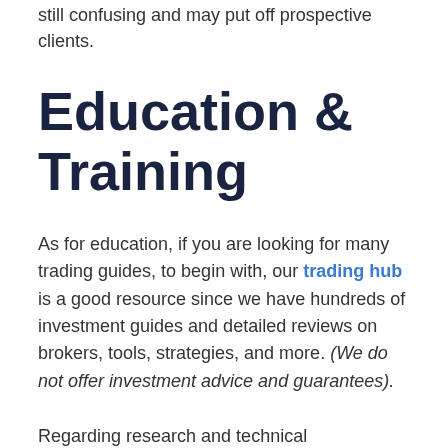still confusing and may put off prospective clients.
Education & Training
As for education, if you are looking for many trading guides, to begin with, our trading hub is a good resource since we have hundreds of investment guides and detailed reviews on brokers, tools, strategies, and more. (We do not offer investment advice and guarantees).
Regarding research and technical